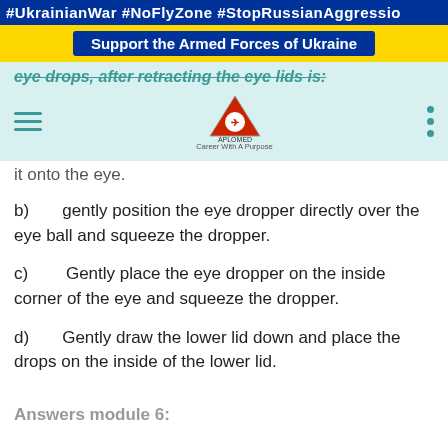#UkrainianWar #NoFlyZone #StopRussianAggressio
Support the Armed Forces of Ukraine
eye drops, after retracting the eye lids is:
it onto the eye.
b)      gently position the eye dropper directly over the eye ball and squeeze the dropper.
c)       Gently place the eye dropper on the inside corner of the eye and squeeze the dropper.
d)      Gently draw the lower lid down and place the drops on the inside of the lower lid.
Answers module 6: